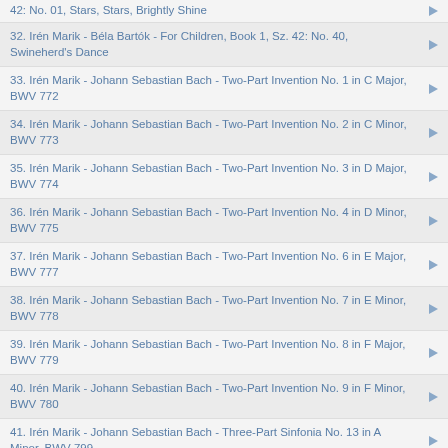42: No. 01, Stars, Stars, Brightly Shine
32. Irén Marik - Béla Bartók - For Children, Book 1, Sz. 42: No. 40, Swineherd's Dance
33. Irén Marik - Johann Sebastian Bach - Two-Part Invention No. 1 in C Major, BWV 772
34. Irén Marik - Johann Sebastian Bach - Two-Part Invention No. 2 in C Minor, BWV 773
35. Irén Marik - Johann Sebastian Bach - Two-Part Invention No. 3 in D Major, BWV 774
36. Irén Marik - Johann Sebastian Bach - Two-Part Invention No. 4 in D Minor, BWV 775
37. Irén Marik - Johann Sebastian Bach - Two-Part Invention No. 6 in E Major, BWV 777
38. Irén Marik - Johann Sebastian Bach - Two-Part Invention No. 7 in E Minor, BWV 778
39. Irén Marik - Johann Sebastian Bach - Two-Part Invention No. 8 in F Major, BWV 779
40. Irén Marik - Johann Sebastian Bach - Two-Part Invention No. 9 in F Minor, BWV 780
41. Irén Marik - Johann Sebastian Bach - Three-Part Sinfonia No. 13 in A Minor, BWV 799
42. Irén Marik - Johann Sebastian Bach - French Suite No. 5 in G Major, BWV 816: I. Allemande
43. Irén Marik - Johann Sebastian Bach - French Suite No. 5 in G Major, BWV 816: II. Courante
44. Irén Marik - Johann Sebastian Bach - French Suite No. 5 in G Major, BWV 816: III. Sarabande
45. Irén Marik - Johann Sebastian Bach - French Suite